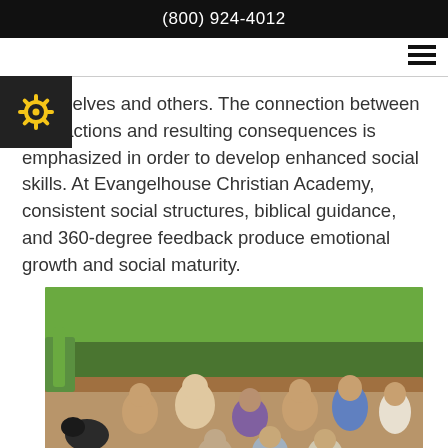(800) 924-4012
themselves and others. The connection between their actions and resulting consequences is emphasized in order to develop enhanced social skills. At Evangelhouse Christian Academy, consistent social structures, biblical guidance, and 360-degree feedback produce emotional growth and social maturity.
[Figure (photo): Group photo of several teenage girls outdoors, sitting together near wooden structure with trees and tall grass in the background, and a dog visible on the left.]